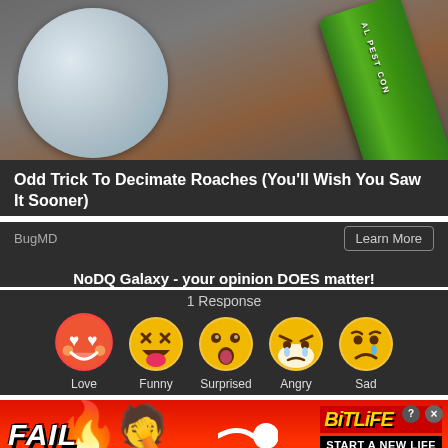[Figure (photo): Advertisement image showing a plate and a green pest control spray can]
Odd Trick To Decimate Roaches (You'll Wish You Saw It Sooner)
BugMD
Learn More
NoDQ Galaxy - your opinion DOES matter!
1 Response
[Figure (infographic): Five emoji reaction buttons: Love (heart eyes), Funny (laughing face), Surprised (open mouth), Angry (crying angry face), Sad (sad with tear)]
Love   Funny   Surprised   Angry   Sad
[Figure (photo): BitLife advertisement banner with FAIL text, cartoon character, fire emoji, and 'START A NEW LIFE' tagline]